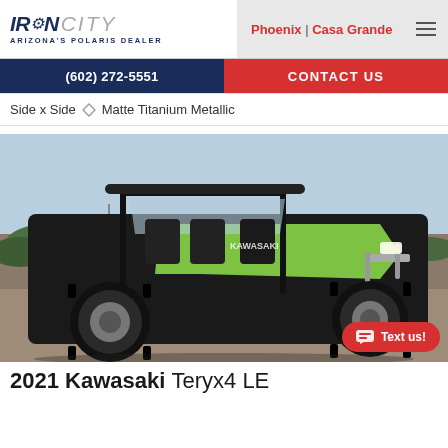IRON CITY ARIZONA'S POLARIS DEALER | Phoenix | Casa Grande
(602) 272-5551
CONTACT US
Side x Side  Matte Titanium Metallic
[Figure (photo): Green and black 2021 Kawasaki Teryx4 LE side-by-side UTV parked on a dirt road with desert shrubs and a clear sky in the background. The vehicle has large knobby off-road tires and a prominent roll cage.]
2021 Kawasaki Teryx4 LE